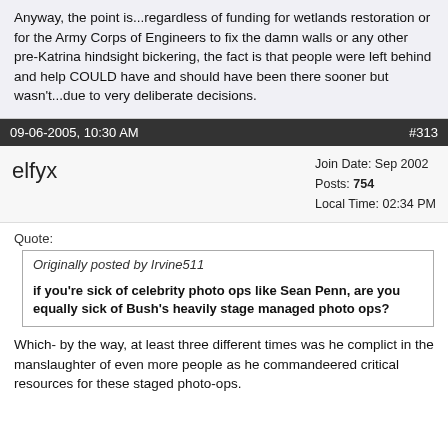Anyway, the point is...regardless of funding for wetlands restoration or for the Army Corps of Engineers to fix the damn walls or any other pre-Katrina hindsight bickering, the fact is that people were left behind and help COULD have and should have been there sooner but wasn't...due to very deliberate decisions.
09-06-2005, 10:30 AM  #313
elfyx
Join Date: Sep 2002
Posts: 754
Local Time: 02:34 PM
Quote:
Originally posted by Irvine511

if you're sick of celebrity photo ops like Sean Penn, are you equally sick of Bush's heavily stage managed photo ops?
Which- by the way, at least three different times was he complict in the manslaughter of even more people as he commandeered critical resources for these staged photo-ops.